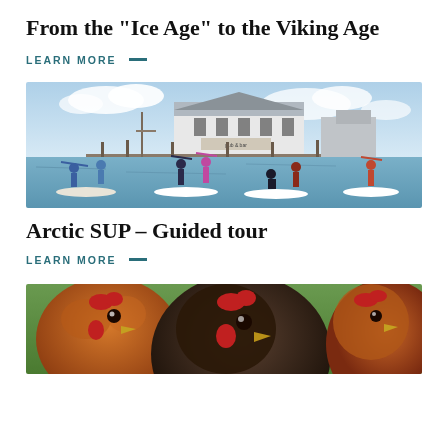From the "Ice Age" to the Viking Age
LEARN MORE —
[Figure (photo): Group of people standing on SUP paddleboards on water in front of a white waterfront building with a pub & bar sign, raising their paddles in the air]
Arctic SUP – Guided tour
LEARN MORE —
[Figure (photo): Close-up of chickens (roosters/hens) with colorful red and brown feathers, green grass in background]